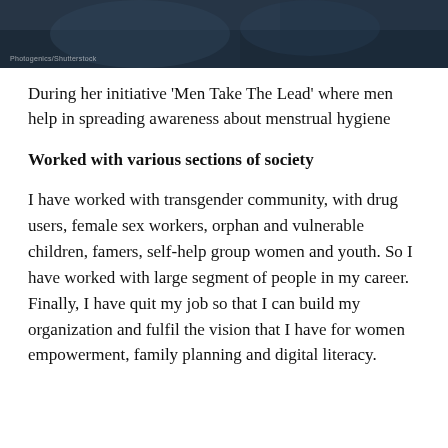[Figure (photo): Dark photograph showing partial views of people, cropped at top of page with a watermark reading 'Photogenics/Shutterstock']
During her initiative ‘Men Take The Lead’ where men help in spreading awareness about menstrual hygiene
Worked with various sections of society
I have worked with transgender community, with drug users, female sex workers, orphan and vulnerable children, famers, self-help group women and youth. So I have worked with large segment of people in my career. Finally, I have quit my job so that I can build my organization and fulfil the vision that I have for women empowerment, family planning and digital literacy.